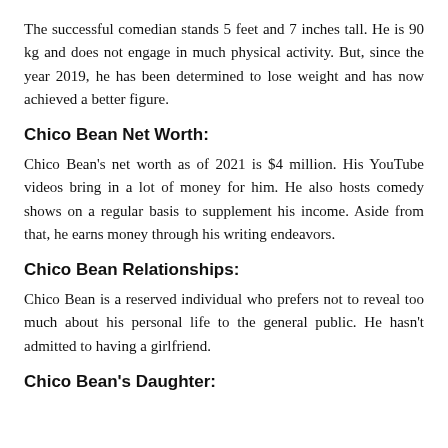The successful comedian stands 5 feet and 7 inches tall. He is 90 kg and does not engage in much physical activity. But, since the year 2019, he has been determined to lose weight and has now achieved a better figure.
Chico Bean Net Worth:
Chico Bean's net worth as of 2021 is $4 million. His YouTube videos bring in a lot of money for him. He also hosts comedy shows on a regular basis to supplement his income. Aside from that, he earns money through his writing endeavors.
Chico Bean Relationships:
Chico Bean is a reserved individual who prefers not to reveal too much about his personal life to the general public. He hasn't admitted to having a girlfriend.
Chico Bean's Daughter: